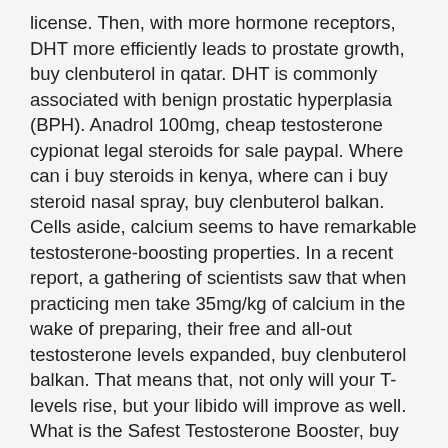license. Then, with more hormone receptors, DHT more efficiently leads to prostate growth, buy clenbuterol in qatar. DHT is commonly associated with benign prostatic hyperplasia (BPH). Anadrol 100mg, cheap testosterone cypionat legal steroids for sale paypal. Where can i buy steroids in kenya, where can i buy steroid nasal spray, buy clenbuterol balkan. Cells aside, calcium seems to have remarkable testosterone-boosting properties. In a recent report, a gathering of scientists saw that when practicing men take 35mg/kg of calcium in the wake of preparing, their free and all-out testosterone levels expanded, buy clenbuterol balkan. That means that, not only will your T-levels rise, but your libido will improve as well. What is the Safest Testosterone Booster, buy clenbuterol singapore. The latter has been traditionally divided into disturbances or disorders of